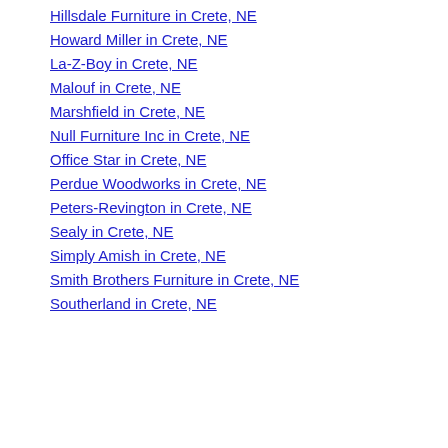Hillsdale Furniture in Crete, NE
Howard Miller in Crete, NE
La-Z-Boy in Crete, NE
Malouf in Crete, NE
Marshfield in Crete, NE
Null Furniture Inc in Crete, NE
Office Star in Crete, NE
Perdue Woodworks in Crete, NE
Peters-Revington in Crete, NE
Sealy in Crete, NE
Simply Amish in Crete, NE
Smith Brothers Furniture in Crete, NE
Southerland in Crete, NE